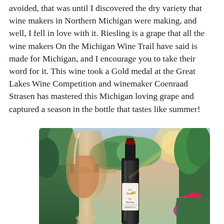avoided, that was until I discovered the dry variety that wine makers in Northern Michigan were making, and well, I fell in love with it. Riesling is a grape that all the wine makers On the Michigan Wine Trail have said is made for Michigan, and I encourage you to take their word for it. This wine took a Gold medal at the Great Lakes Wine Competition and winemaker Coenraad Strasen has mastered this Michigan loving grape and captured a season in the bottle that tastes like summer!
[Figure (photo): Outdoor photo of a wine glass and a dark wine bottle (Bel Estate Dry Riesling) with trees and colorful flowers in the background]